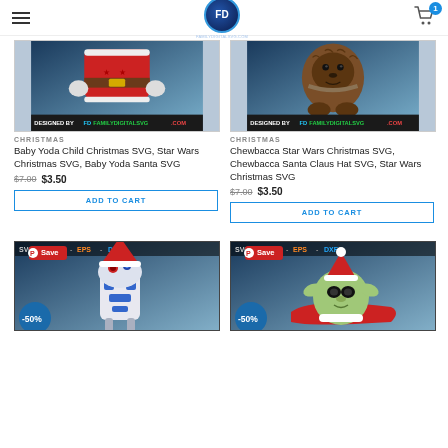FD SVG - FAMILYDIGITALSVG.COM
[Figure (photo): Baby Yoda Child Christmas SVG product image with Santa outfit and 'DESIGNED BY FD FAMILYDIGITALSVG.COM' label strip]
CHRISTMAS
Baby Yoda Child Christmas SVG, Star Wars Christmas SVG, Baby Yoda Santa SVG
$7.00  $3.50
ADD TO CART
[Figure (photo): Chewbacca Star Wars Christmas SVG product image with 'DESIGNED BY FD FAMILYDIGITALSVG.COM' label strip]
CHRISTMAS
Chewbacca Star Wars Christmas SVG, Chewbacca Santa Claus Hat SVG, Star Wars Christmas SVG
$7.00  $3.50
ADD TO CART
[Figure (photo): R2-D2 with Santa hat Christmas SVG product image, -50% badge, Save Pinterest button, SVG PNG EPS DXF format strip]
[Figure (photo): Baby Yoda in Santa sleigh Christmas SVG product image, -50% badge, Save Pinterest button, SVG PNG EPS DXF format strip]